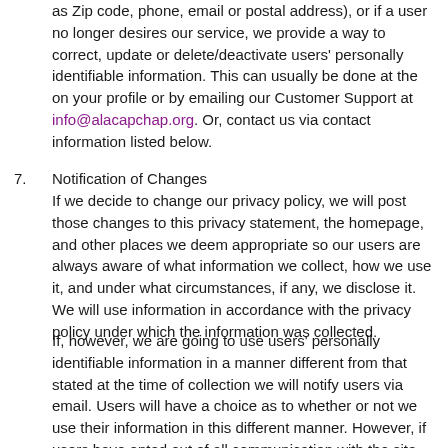as Zip code, phone, email or postal address), or if a user no longer desires our service, we provide a way to correct, update or delete/deactivate users' personally identifiable information. This can usually be done at the on your profile or by emailing our Customer Support at info@alacapchap.org. Or, contact us via contact information listed below.
7. Notification of Changes
If we decide to change our privacy policy, we will post those changes to this privacy statement, the homepage, and other places we deem appropriate so our users are always aware of what information we collect, how we use it, and under what circumstances, if any, we disclose it. We will use information in accordance with the privacy policy under which the information was collected.
If, however, we are going to use users' personally identifiable information in a manner different from that stated at the time of collection we will notify users via email. Users will have a choice as to whether or not we use their information in this different manner. However, if users have opted out of all communication with the site, or